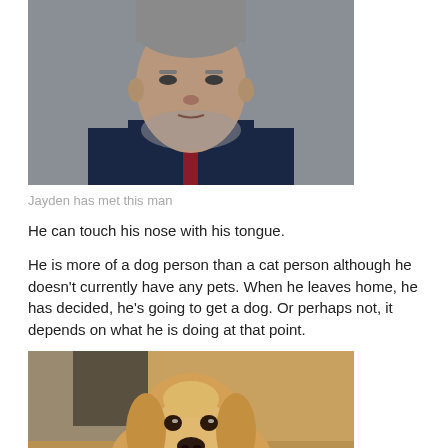[Figure (photo): Portrait photo of a middle-aged man with grey stubble, wearing a dark navy suit and dark red tie against a grey background.]
Jayden has met this man
He can touch his nose with his tongue.
He is more of a dog person than a cat person although he doesn't currently have any pets. When he leaves home, he has decided, he's going to get a dog. Or perhaps not, it depends on what he is doing at that point.
[Figure (photo): Photo of a golden retriever puppy looking up at the camera, resting on a wooden floor with a blurred background.]